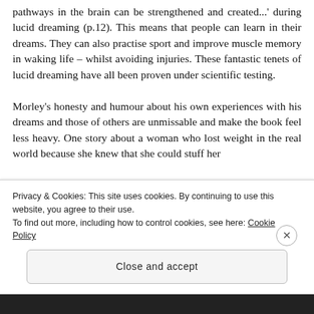pathways in the brain can be strengthened and created...' during lucid dreaming (p.12). This means that people can learn in their dreams. They can also practise sport and improve muscle memory in waking life – whilst avoiding injuries. These fantastic tenets of lucid dreaming have all been proven under scientific testing.
Morley's honesty and humour about his own experiences with his dreams and those of others are unmissable and make the book feel less heavy. One story about a woman who lost weight in the real world because she knew that she could stuff her
Privacy & Cookies: This site uses cookies. By continuing to use this website, you agree to their use.
To find out more, including how to control cookies, see here: Cookie Policy
Close and accept